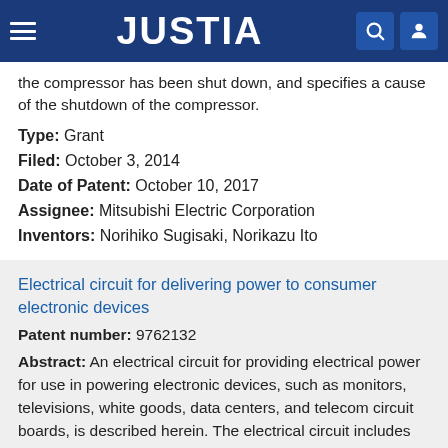JUSTIA
the compressor has been shut down, and specifies a cause of the shutdown of the compressor.
Type: Grant
Filed: October 3, 2014
Date of Patent: October 10, 2017
Assignee: Mitsubishi Electric Corporation
Inventors: Norihiko Sugisaki, Norikazu Ito
Electrical circuit for delivering power to consumer electronic devices
Patent number: 9762132
Abstract: An electrical circuit for providing electrical power for use in powering electronic devices, such as monitors, televisions, white goods, data centers, and telecom circuit boards, is described herein. The electrical circuit includes an input terminal configured to receive an input power signal, an output terminal